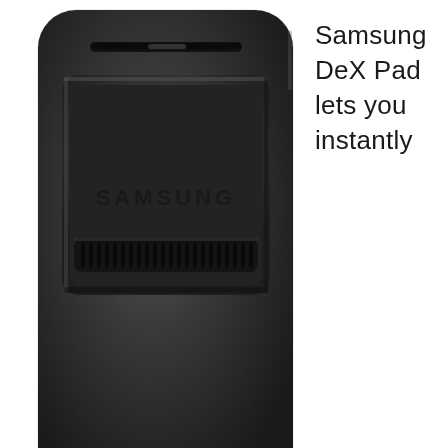[Figure (photo): Close-up photo of the top portion of a Samsung DeX Pad device. The device is dark charcoal/black colored with a textured surface. Visible features include a slot/groove at the top, a recessed platform area with 'SAMSUNG' branding text embossed on it, and a ventilation grille with multiple vertical slits near the bottom of the visible platform area.]
Samsung DeX Pad lets you instantly